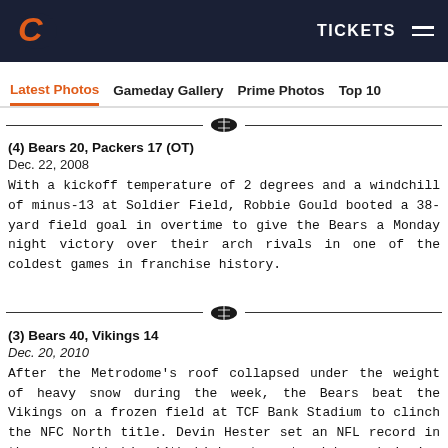Chicago Bears — TICKETS
Latest Photos | Gameday Gallery | Prime Photos | Top 10
(4) Bears 20, Packers 17 (OT)
Dec. 22, 2008
With a kickoff temperature of 2 degrees and a windchill of minus-13 at Soldier Field, Robbie Gould booted a 38-yard field goal in overtime to give the Bears a Monday night victory over their arch rivals in one of the coldest games in franchise history.
(3) Bears 40, Vikings 14
Dec. 20, 2010
After the Metrodome's roof collapsed under the weight of heavy snow during the week, the Bears beat the Vikings on a frozen field at TCF Bank Stadium to clinch the NFC North title. Devin Hester set an NFL record in the game with his 14th kick return touchdown, bringing back a punt 64 yards for a score.